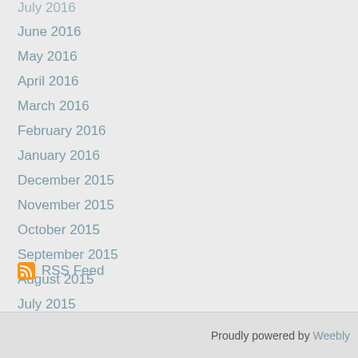July 2016
June 2016
May 2016
April 2016
March 2016
February 2016
January 2016
December 2015
November 2015
October 2015
September 2015
August 2015
July 2015
June 2015
RSS Feed
Proudly powered by Weebly